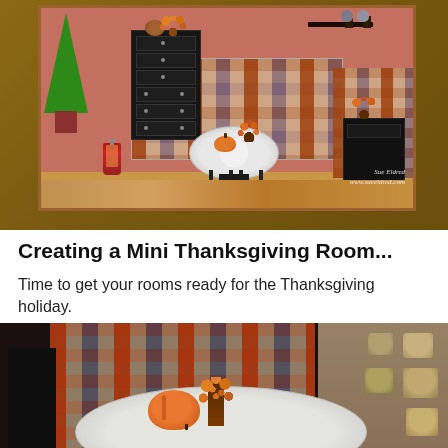[Figure (photo): A miniature Thanksgiving room box diorama featuring a black dresser decorated with a turkey and orange floral arrangement, a round table with a white lace tablecloth set with a pumpkin centerpiece, plaid upholstered seating, a green bottle brush tree in a red plaid pot, a red lantern, small shelves on the wall with vases, and hardwood flooring. Watermark reads: Sue Eldred www.sueeldred.com]
Creating a Mini Thanksgiving Room...
Time to get your rooms ready for the Thanksgiving holiday.
[Figure (photo): Close-up of the miniature Thanksgiving room box showing the round table with white lace tablecloth, an orange pumpkin, an orange berry/floral arrangement in a brown pot, plaid wallpaper/upholstery in the background, a black chair on the left, and shelving with baskets/pots on the right.]